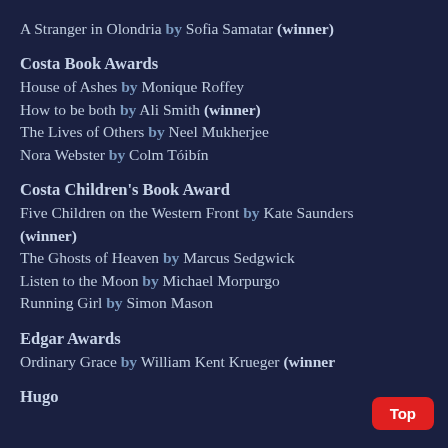A Stranger in Olondria by Sofia Samatar (winner)
Costa Book Awards
House of Ashes by Monique Roffey
How to be both by Ali Smith (winner)
The Lives of Others by Neel Mukherjee
Nora Webster by Colm Tóibín
Costa Children's Book Award
Five Children on the Western Front by Kate Saunders (winner)
The Ghosts of Heaven by Marcus Sedgwick
Listen to the Moon by Michael Morpurgo
Running Girl by Simon Mason
Edgar Awards
Ordinary Grace by William Kent Krueger (winner)
Hugo